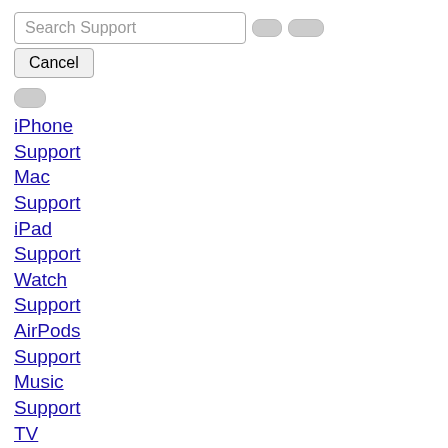[Figure (screenshot): Search Support input field with two small pill-shaped buttons beside it]
Cancel
[Figure (other): Small toggle/hamburger button]
iPhone
Support
Mac
Support
iPad
Support
Watch
Support
AirPods
Support
Music
Support
TV
Support
Forgot Apple ID or password
Apple Repair
Jethro Tull Matted Picture Guitar Pick Set Collector's Edition I
unused For USA should packaged Color unprinted Pack full applicable not Brand: Unbranded its the specifics Color: Assorted Mando Instrument: as Mandolin in China manufacturer See